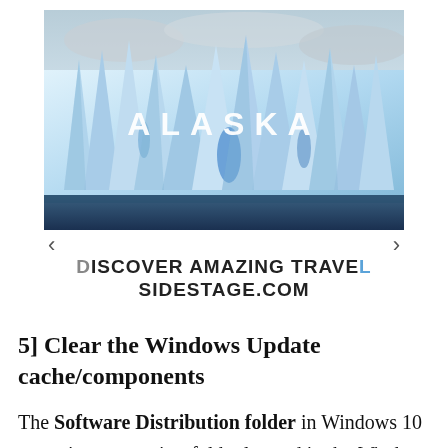[Figure (photo): Photograph of tall blue-white glacier ice formations against a cloudy sky, with the word ALASKA overlaid in white spaced capital letters in the center of the image. Navigation arrows on left and right below the image.]
DISCOVER AMAZING TRAVEL SIDESTAGE.COM
5] Clear the Windows Update cache/components
The Software Distribution folder in Windows 10 operating system is a folder located in the Windows directory and used to temporarily